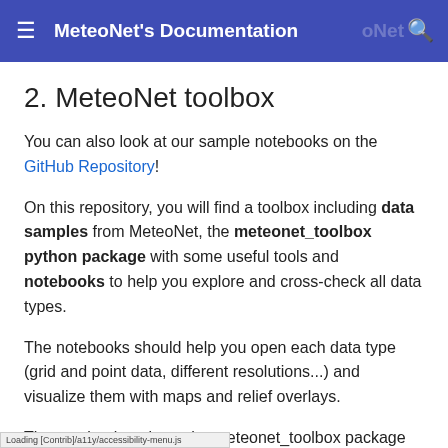MeteoNet's Documentation
2. MeteoNet toolbox
You can also look at our sample notebooks on the GitHub Repository!
On this repository, you will find a toolbox including data samples from MeteoNet, the meteonet_toolbox python package with some useful tools and notebooks to help you explore and cross-check all data types.
The notebooks should help you open each data type (grid and point data, different resolutions...) and visualize them with maps and relief overlays.
The notebooks rely on the meteonet_toolbox package and we recommend that you install it. You just have to follow our install guide.
Loading [Contrib]/a11y/accessibility-menu.js